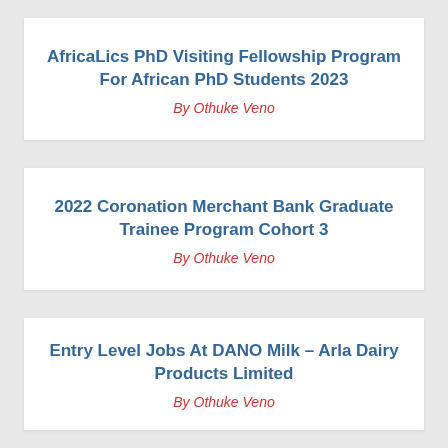AfricaLics PhD Visiting Fellowship Program For African PhD Students 2023
By Othuke Veno
2022 Coronation Merchant Bank Graduate Trainee Program Cohort 3
By Othuke Veno
Entry Level Jobs At DANO Milk – Arla Dairy Products Limited
By Othuke Veno